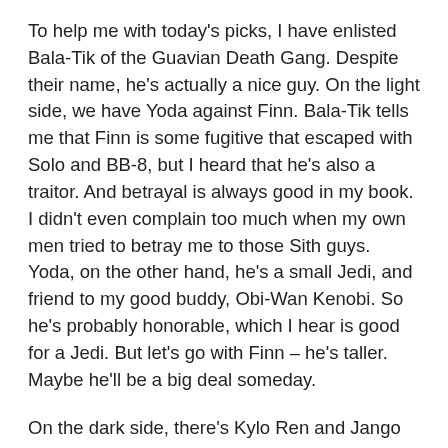To help me with today's picks, I have enlisted Bala-Tik of the Guavian Death Gang. Despite their name, he's actually a nice guy. On the light side, we have Yoda against Finn. Bala-Tik tells me that Finn is some fugitive that escaped with Solo and BB-8, but I heard that he's also a traitor. And betrayal is always good in my book. I didn't even complain too much when my own men tried to betray me to those Sith guys. Yoda, on the other hand, he's a small Jedi, and friend to my good buddy, Obi-Wan Kenobi. So he's probably honorable, which I hear is good for a Jedi. But let's go with Finn – he's taller. Maybe he'll be a big deal someday.
On the dark side, there's Kylo Ren and Jango Fett. Jango, I knew him. He was a good hunter. Perhaps not as good as me, since I captured two Jedi and a Sith at the same time! Bala-Tik says Kylo Ren is a Sith Lord in the First Order, but likes to destroy stuff when he's angry. Destroying stuff